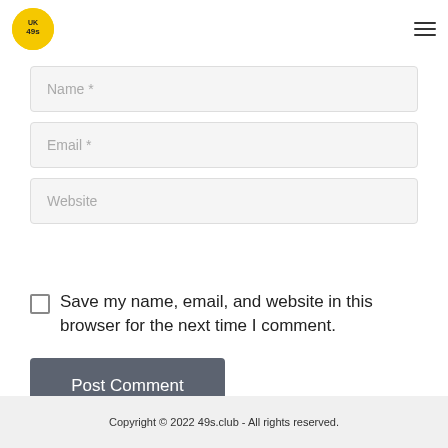[Figure (logo): UK49s logo: yellow circle with stylized UK49s text]
Name *
Email *
Website
Save my name, email, and website in this browser for the next time I comment.
Post Comment
Copyright © 2022 49s.club - All rights reserved.